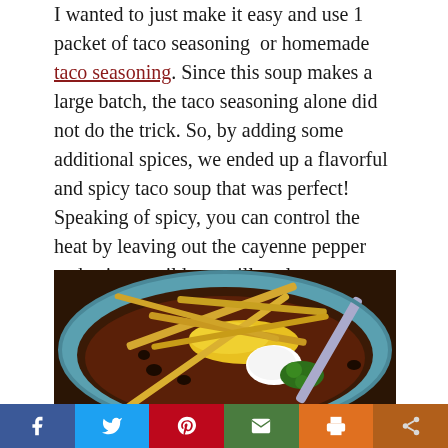I wanted to just make it easy and use 1 packet of taco seasoning or homemade taco seasoning. Since this soup makes a large batch, the taco seasoning alone did not do the trick. So, by adding some additional spices, we ended up a flavorful and spicy taco soup that was perfect! Speaking of spicy, you can control the heat by leaving out the cayenne pepper and using a mild tomatillo salsa.
[Figure (photo): Overhead close-up photo of a bowl of taco soup topped with shredded cheese, sour cream, cilantro, and tortilla strips, with a spoon visible]
Social sharing bar: Facebook, Twitter, Pinterest, Email, Print, Share